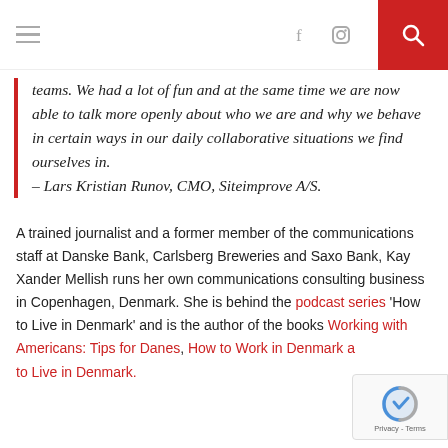Navigation bar with hamburger menu, social icons (Facebook, Instagram), and search button
teams. We had a lot of fun and at the same time we are now able to talk more openly about who we are and why we behave in certain ways in our daily collaborative situations we find ourselves in.
– Lars Kristian Runov, CMO, Siteimprove A/S.
A trained journalist and a former member of the communications staff at Danske Bank, Carlsberg Breweries and Saxo Bank, Kay Xander Mellish runs her own communications consulting business in Copenhagen, Denmark. She is behind the podcast series 'How to Live in Denmark' and is the author of the books Working with Americans: Tips for Danes, How to Work in Denmark and How to Live in Denmark.